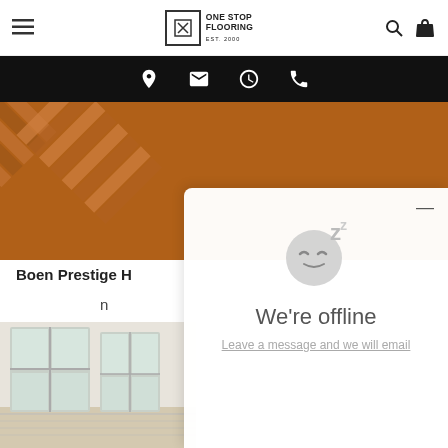One Stop Flooring - website header with hamburger menu, logo, search and cart icons
[Figure (screenshot): Black navigation bar with location pin, email, clock, and phone icons in white]
[Figure (photo): Herringbone wood flooring pattern in warm brown/oak tones]
Boen Prestige H
n
[Figure (photo): Bright room interior with large windows and light wood flooring]
[Figure (screenshot): Live chat popup overlay showing sleeping face emoji with Z, 'We're offline' heading and 'Leave a message and we will email' link]